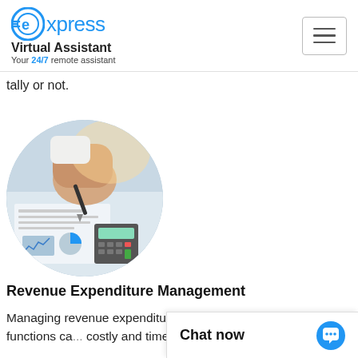Express Virtual Assistant — Your 24/7 remote assistant
tally or not.
[Figure (photo): Circular cropped photo of a person's hands writing on financial documents with charts and a calculator visible on the desk.]
Revenue Expenditure Management
Managing revenue expenditure along with other financial functions ca... costly and time-cons...